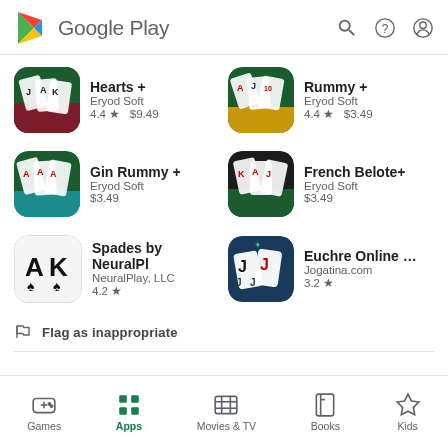[Figure (logo): Google Play logo with triangular play icon in green/yellow/red and 'Google Play' text]
Hearts +
Eryod Soft
4.4 ★  $9.49
Rummy +
Eryod Soft
4.4 ★  $3.49
Gin Rummy +
Eryod Soft
$3.49
French Belote+
Eryod Soft
$3.49
Spades by NeuralPl
NeuralPlay, LLC
4.2 ★
Euchre Online Tricks
Jogatina.com
3.2 ★
Flag as inappropriate
Games   Apps   Movies & TV   Books   Kids